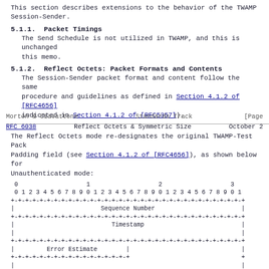This section describes extensions to the behavior of the TWAMP Session-Sender.
5.1.1.  Packet Timings
The Send Schedule is not utilized in TWAMP, and this is unchanged this memo.
5.1.2.  Reflect Octets: Packet Formats and Contents
The Session-Sender packet format and content follow the same procedure and guidelines as defined in Section 4.1.2 of [RFC4656] indicated in Section 4.1.2 of [RFC5357]).
Morton & Ciavattone          Standards Track                    [Page
RFC 6038          Reflect Octets & Symmetric Size       October 2
The Reflect Octets mode re-designates the original TWAMP-Test Packet Padding field (see Section 4.1.2 of [RFC4656]), as shown below for Unauthenticated mode:
[Figure (schematic): Packet format diagram showing bit fields: Sequence Number, Timestamp, Error Estimate, and Packet Padding (to be reflected) with bit numbering 0-3 across top]